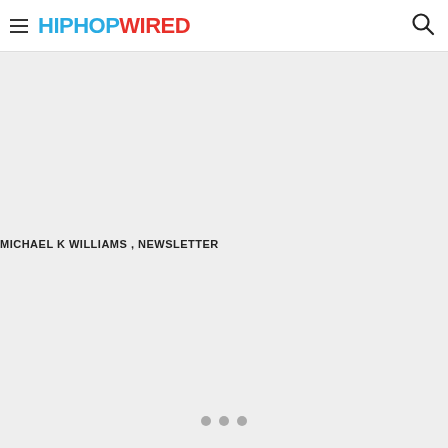HIPHOPWIRED
MICHAEL K WILLIAMS , NEWSLETTER